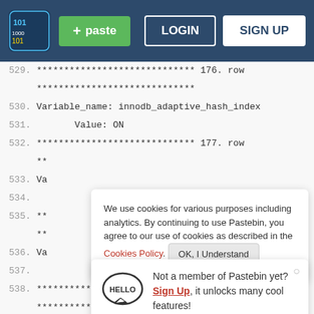[Figure (screenshot): Pastebin website header with logo, green paste button, LOGIN and SIGN UP buttons on dark blue background]
529. ***************************** 176. row
*****************************
530. Variable_name: innodb_adaptive_hash_index
531.        Value: ON
532. ***************************** 177. row
** We use cookies for various purposes including analytics. By continuing to use Pastebin, you agree to our use of cookies as described in the Cookies Policy. OK, I Understand
533. Va
534.
535. **
** Not a member of Pastebin yet? Sign Up, it unlocks many cool features!
536. Va
537.
538. ***************************** 179. row
*****************************
539. Variable_name: innodb_api_bk_commit_interval
540.        Value: 5
541. ***************************** 180. row